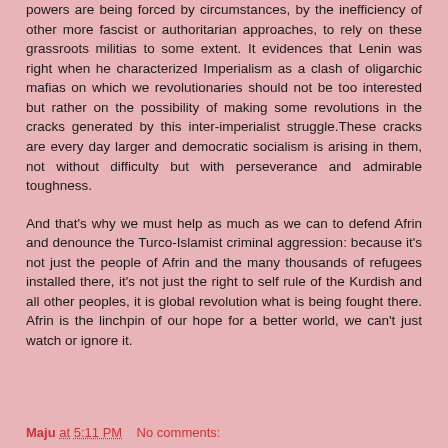powers are being forced by circumstances, by the inefficiency of other more fascist or authoritarian approaches, to rely on these grassroots militias to some extent. It evidences that Lenin was right when he characterized Imperialism as a clash of oligarchic mafias on which we revolutionaries should not be too interested but rather on the possibility of making some revolutions in the cracks generated by this inter-imperialist struggle.These cracks are every day larger and democratic socialism is arising in them, not without difficulty but with perseverance and admirable toughness.
And that's why we must help as much as we can to defend Afrin and denounce the Turco-Islamist criminal aggression: because it's not just the people of Afrin and the many thousands of refugees installed there, it's not just the right to self rule of the Kurdish and all other peoples, it is global revolution what is being fought there. Afrin is the linchpin of our hope for a better world, we can't just watch or ignore it.
Maju at 5:11 PM    No comments: